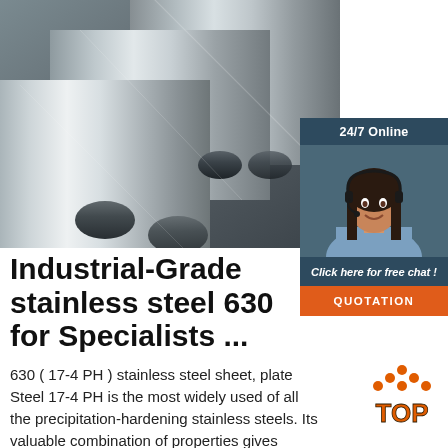[Figure (photo): Industrial stainless steel round bars/rods stacked together, photographed from an angle showing their circular cross-sections]
[Figure (photo): Customer service representative (woman with headset) in a 24/7 online chat widget overlay with dark blue-gray background, 'Click here for free chat!' text, and orange QUOTATION button]
Industrial-Grade stainless steel 630 for Specialists ...
630 ( 17-4 PH ) stainless steel sheet, plate Steel 17-4 PH is the most widely used of all the precipitation-hardening stainless steels. Its valuable combination of properties gives
[Figure (logo): TOP logo — orange dots arranged in a triangle above the word TOP in orange with dark outline]